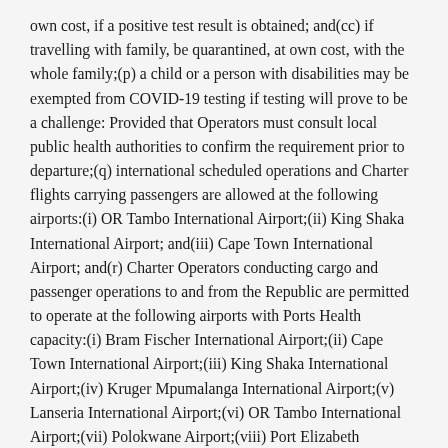own cost, if a positive test result is obtained; and(cc) if travelling with family, be quarantined, at own cost, with the whole family;(p) a child or a person with disabilities may be exempted from COVID-19 testing if testing will prove to be a challenge: Provided that Operators must consult local public health authorities to confirm the requirement prior to departure;(q) international scheduled operations and Charter flights carrying passengers are allowed at the following airports:(i) OR Tambo International Airport;(ii) King Shaka International Airport; and(iii) Cape Town International Airport; and(r) Charter Operators conducting cargo and passenger operations to and from the Republic are permitted to operate at the following airports with Ports Health capacity:(i) Bram Fischer International Airport;(ii) Cape Town International Airport;(iii) King Shaka International Airport;(iv) Kruger Mpumalanga International Airport;(v) Lanseria International Airport;(vi) OR Tambo International Airport;(vii) Polokwane Airport;(viii) Port Elizabeth International Airport;(ix) Upington International Airport;(x) Gari...